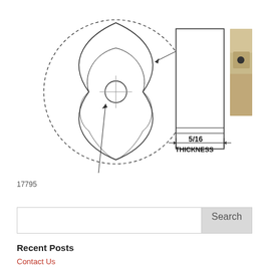[Figure (engineering-diagram): Technical engineering drawing showing a three-lobed insert/cutter from front view (circular, three-bladed shape with center hole and crosshairs, labeled .280 R.) alongside a side/profile view rectangle showing 5/16 THICKNESS dimension, plus a photograph of the actual physical part (beige/tan colored insert with hole).]
17795
Search
Recent Posts
Contact Us